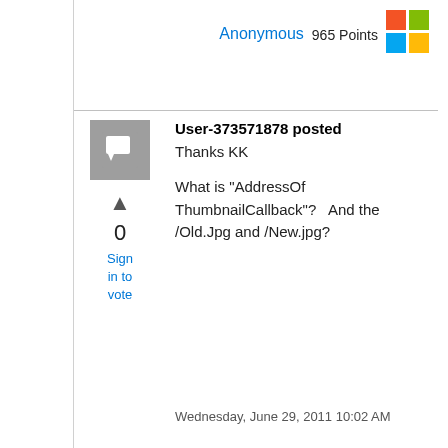[Figure (logo): Microsoft logo (four colored squares: red, green, blue, yellow)]
Anonymous  965 Points
[Figure (other): Grey avatar/comment icon box]
▲
0
Sign in to vote
User-373571878 posted
Thanks KK

What is "AddressOf ThumbnailCallback"?   And the /Old.Jpg and /New.jpg?
Wednesday, June 29, 2011 10:02 AM